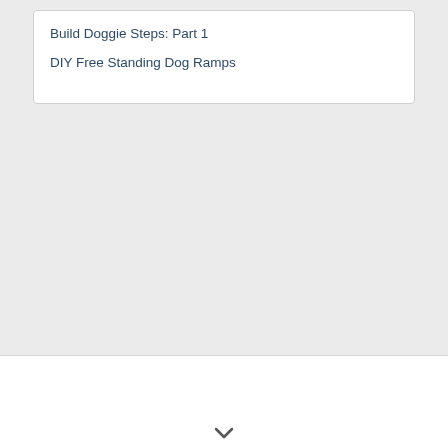Build Doggie Steps: Part 1
DIY Free Standing Dog Ramps